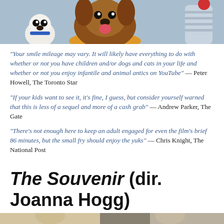[Figure (photo): Animated movie still showing cartoon dogs and animals from The Secret Life of Pets 2, with a large brown dog in the center and a small white dog to the left, colorful background]
“Your smile mileage may vary. It will likely have everything to do with whether or not you have children and/or dogs and cats in your life and whether or not you enjoy infantile and animal antics on YouTube” — Peter Howell, The Toronto Star
“If your kids want to see it, it’s fine, I guess, but consider yourself warned that this is less of a sequel and more of a cash grab” — Andrew Parker, The Gate
“There’s not enough here to keep an adult engaged for even the film’s brief 86 minutes, but the small fry should enjoy the yuks” — Chris Knight, The National Post
The Souvenir (dir. Joanna Hogg)
[Figure (photo): Partial view of a movie still from The Souvenir, showing what appears to be two figures in a muted, realistic scene]